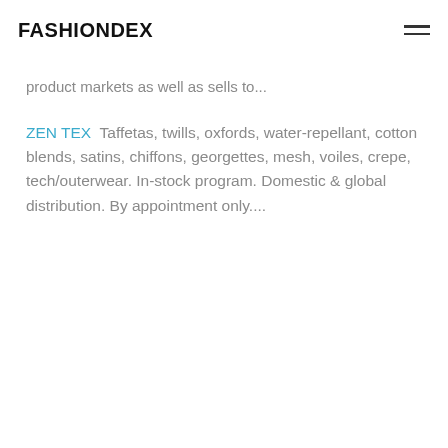FASHIONDEX
product markets as well as sells to...
ZEN TEX  Taffetas, twills, oxfords, water-repellant, cotton blends, satins, chiffons, georgettes, mesh, voiles, crepe, tech/outerwear. In-stock program. Domestic & global distribution. By appointment only....